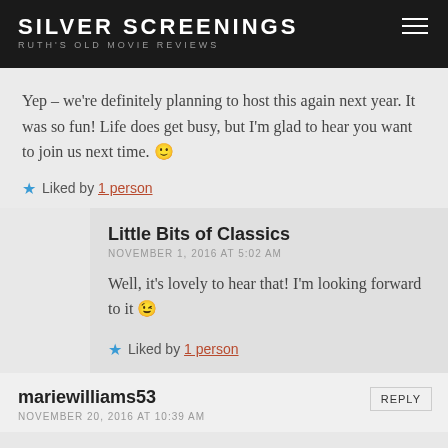SILVER SCREENINGS
RUTH'S OLD MOVIE REVIEWS
Yep – we're definitely planning to host this again next year. It was so fun! Life does get busy, but I'm glad to hear you want to join us next time. 🙂
Liked by 1 person
Little Bits of Classics
NOVEMBER 1, 2016 AT 5:02 AM
Well, it's lovely to hear that! I'm looking forward to it 😉
Liked by 1 person
mariewilliams53
NOVEMBER 20, 2016 AT 10:39 AM